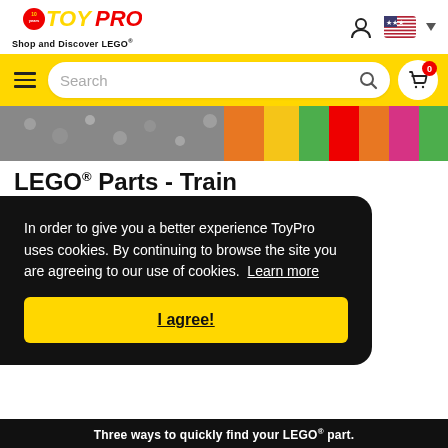[Figure (logo): ToyPro logo with '10 years' badge in red and yellow, text 'Shop and Discover LEGO®' below]
[Figure (screenshot): Yellow navigation bar with hamburger menu, search box, and cart icon with badge '0']
[Figure (photo): Hero strip image showing LEGO bricks — grayscale on left, colorful on right]
LEGO® Parts - Train
In order to give you a better experience ToyPro uses cookies. By continuing to browse the site you are agreeing to our use of cookies.  Learn more
I agree!
Three ways to quickly find your LEGO® part.